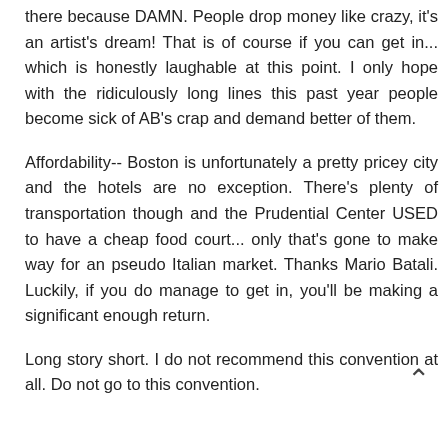there because DAMN. People drop money like crazy, it's an artist's dream! That is of course if you can get in... which is honestly laughable at this point. I only hope with the ridiculously long lines this past year people become sick of AB's crap and demand better of them.
Affordability-- Boston is unfortunately a pretty pricey city and the hotels are no exception. There's plenty of transportation though and the Prudential Center USED to have a cheap food court... only that's gone to make way for an pseudo Italian market. Thanks Mario Batali. Luckily, if you do manage to get in, you'll be making a significant enough return.
Long story short. I do not recommend this convention at all. Do not go to this convention.